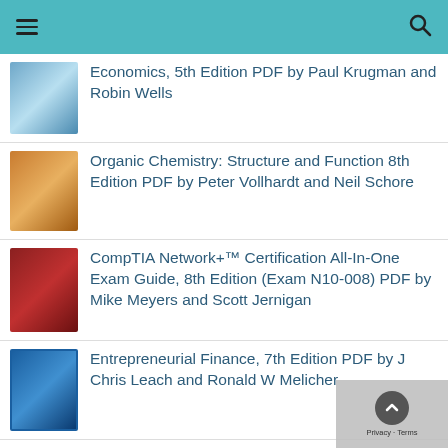Economics, 5th Edition PDF by Paul Krugman and Robin Wells
Organic Chemistry: Structure and Function 8th Edition PDF by Peter Vollhardt and Neil Schore
CompTIA Network+™ Certification All-In-One Exam Guide, 8th Edition (Exam N10-008) PDF by Mike Meyers and Scott Jernigan
Entrepreneurial Finance, 7th Edition PDF by J Chris Leach and Ronald W Melicher
Study Guide and Solutions Manual for Organic Chemistry, 8th Edition PDF by Neil E Schore